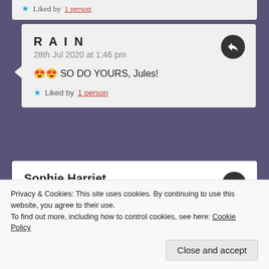★ Liked by 1 person
RAIN
28th Jul 2020 at 1:46 pm
😍😍 SO DO YOURS, Jules!
★ Liked by 1 person
Sophie Harriet
23rd Jul 2020 at 8:20 am
This sounds so good! Books are always more...
Privacy & Cookies: This site uses cookies. By continuing to use this website, you agree to their use.
To find out more, including how to control cookies, see here: Cookie Policy
Close and accept